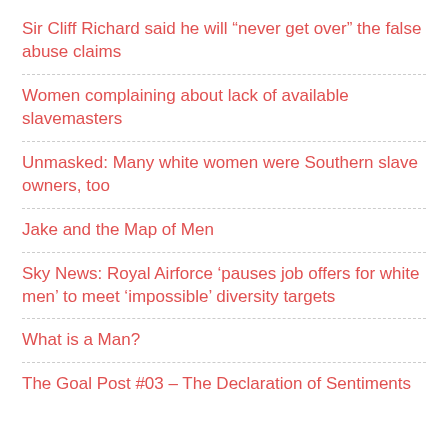Sir Cliff Richard said he will “never get over” the false abuse claims
Women complaining about lack of available slavemasters
Unmasked: Many white women were Southern slave owners, too
Jake and the Map of Men
Sky News: Royal Airforce ‘pauses job offers for white men’ to meet ‘impossible’ diversity targets
What is a Man?
The Goal Post #03 – The Declaration of Sentiments